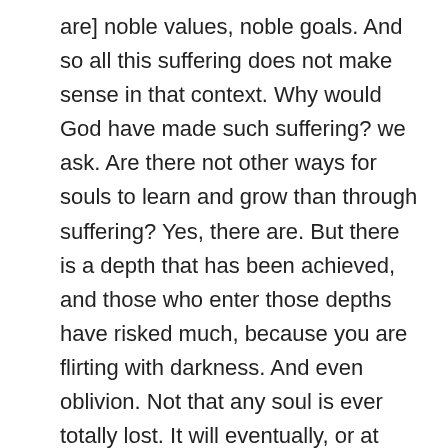are] noble values, noble goals. And so all this suffering does not make sense in that context. Why would God have made such suffering? we ask. Are there not other ways for souls to learn and grow than through suffering? Yes, there are. But there is a depth that has been achieved, and those who enter those depths have risked much, because you are flirting with darkness. And even oblivion. Not that any soul is ever totally lost. It will eventually, or at some level, cycle back to what it is: the Source, the centre of all beingness.
So to flirt with the darkness is brave, so